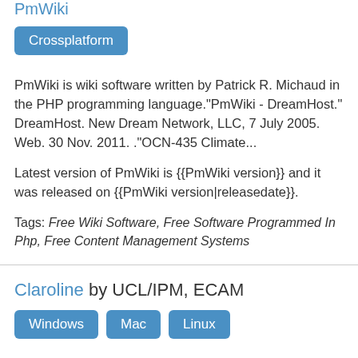PmWiki
Crossplatform
PmWiki is wiki software written by Patrick R. Michaud in the PHP programming language."PmWiki - DreamHost." DreamHost. New Dream Network, LLC, 7 July 2005. Web. 30 Nov. 2011. ."OCN-435 Climate...
Latest version of PmWiki is {{PmWiki version}} and it was released on {{PmWiki version|releasedate}}.
Tags: Free Wiki Software, Free Software Programmed In Php, Free Content Management Systems
Claroline by UCL/IPM, ECAM
Windows Mac Linux
Claroline is a collaborative eLearning and